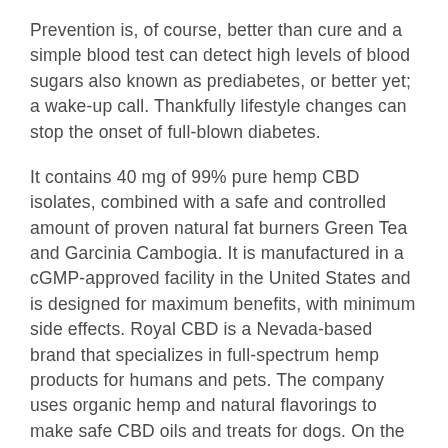Prevention is, of course, better than cure and a simple blood test can detect high levels of blood sugars also known as prediabetes, or better yet; a wake-up call. Thankfully lifestyle changes can stop the onset of full-blown diabetes.
It contains 40 mg of 99% pure hemp CBD isolates, combined with a safe and controlled amount of proven natural fat burners Green Tea and Garcinia Cambogia. It is manufactured in a cGMP-approved facility in the United States and is designed for maximum benefits, with minimum side effects. Royal CBD is a Nevada-based brand that specializes in full-spectrum hemp products for humans and pets. The company uses organic hemp and natural flavorings to make safe CBD oils and treats for dogs. On the other hand, CB1 receptors antagonists have been shown to reduce food intake and promote weight loss.
CBD And Fitness: Tips For Better Workout Recovery